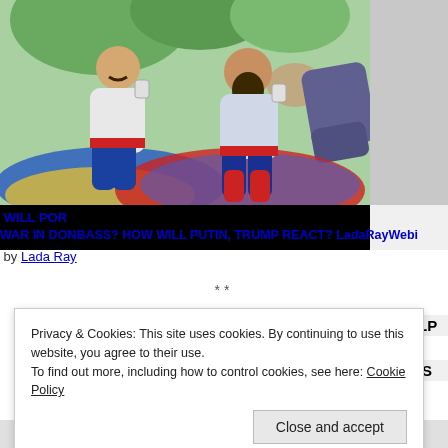[Figure (illustration): Cartoon/illustration of two men in traditional Ukrainian/Cossack clothing sitting on maps of Ukraine and Russia, holding cups/phones, with a third figure lying in the background. Ukrainian flag colors (blue/yellow) on left map, Russian flag colors (white/blue/red) on right map. Green tree foliage in background.]
WILL POR...
WAR IN DONBASS? HOW WILL PUTIN, TRUMP REACT? LadaRayWebi...
by Lada Ray
**
Privacy & Cookies: This site uses cookies. By continuing to use this website, you agree to their use.
To find out more, including how to control cookies, see here: Cookie Policy
Close and accept